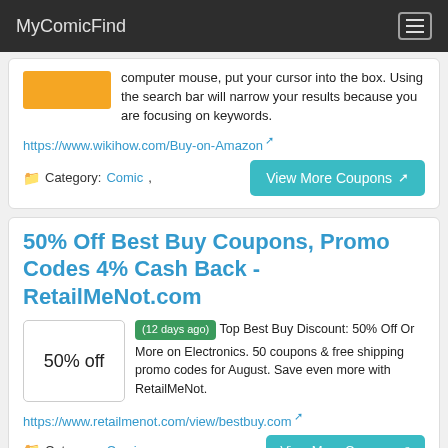MyComicFind
computer mouse, put your cursor into the box. Using the search bar will narrow your results because you are focusing on keywords.
https://www.wikihow.com/Buy-on-Amazon
Category: Comic,
View More Coupons
50% Off Best Buy Coupons, Promo Codes 4% Cash Back - RetailMeNot.com
(12 days ago) Top Best Buy Discount: 50% Off Or More on Electronics. 50 coupons & free shipping promo codes for August. Save even more with RetailMeNot.
50% off
https://www.retailmenot.com/view/bestbuy.com
Category: Comic,